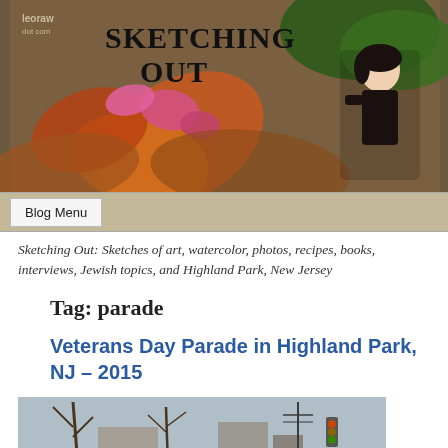[Figure (photo): Blog header banner for 'Sketching Out' blog by leoraw dot com, showing autumn leaves, pink flowers, and a person sketching outdoors. Text reads 'SKETCHING OUT' in large bold letters.]
Blog Menu
Sketching Out: Sketches of art, watercolor, photos, recipes, books, interviews, Jewish topics, and Highland Park, New Jersey
Tag: parade
Veterans Day Parade in Highland Park, NJ – 2015
[Figure (photo): Outdoor photograph of military personnel in Army dress uniforms marching in a Veterans Day parade in Highland Park, NJ in 2015. Soldiers wearing green berets and carrying flags march down a street lined with trees and buildings.]